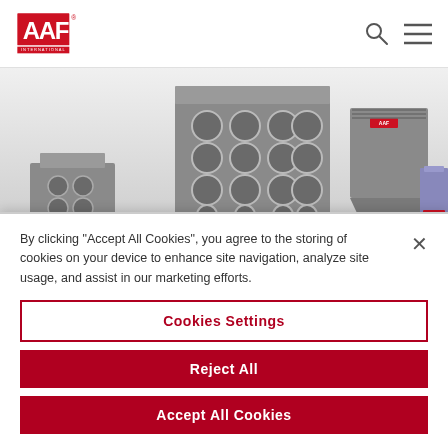AAF International logo with search and menu icons
[Figure (photo): Industrial dust collection equipment units from AAF International, grey metal cabinets with circular filter ports and structural frames, displayed against a light background]
By clicking "Accept All Cookies", you agree to the storing of cookies on your device to enhance site navigation, analyze site usage, and assist in our marketing efforts.
Cookies Settings
Reject All
Accept All Cookies